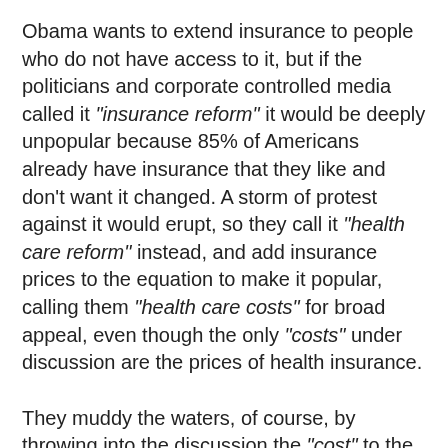Obama wants to extend insurance to people who do not have access to it, but if the politicians and corporate controlled media called it "insurance reform" it would be deeply unpopular because 85% of Americans already have insurance that they like and don't want it changed. A storm of protest against it would erupt, so they call it "health care reform" instead, and add insurance prices to the equation to make it popular, calling them "health care costs" for broad appeal, even though the only "costs" under discussion are the prices of health insurance.
They muddy the waters, of course, by throwing into the discussion the "cost" to the government of subsiding insurance for those who cannot pay for it themselves, and the effect on the federal deficit, but those numbers have nothing whatever to do with "health care costs" per se.
Real "health care cost reform" cannot be on the table because the high costs of health care comes from generous political contributors; hospital corporations, drug companies, doctors and medical associations, lawyers and legal associations, advertising corporations, and the media that...